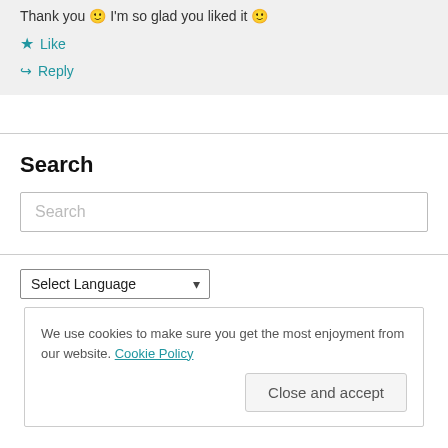Thank you 🙂 I'm so glad you liked it 🙂
★ Like
↪ Reply
Search
Search (input placeholder)
Select Language
We use cookies to make sure you get the most enjoyment from our website. Cookie Policy
Close and accept